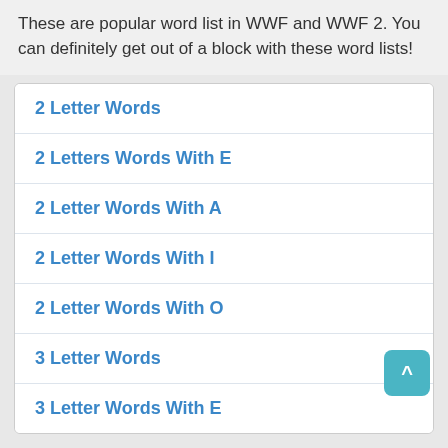These are popular word list in WWF and WWF 2. You can definitely get out of a block with these word lists!
2 Letter Words
2 Letters Words With E
2 Letter Words With A
2 Letter Words With I
2 Letter Words With O
3 Letter Words
3 Letter Words With E